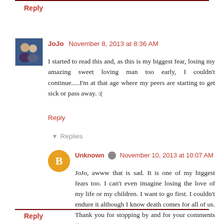Reply
JoJo  November 8, 2013 at 8:36 AM
I started to read this and, as this is my biggest fear, losing my amazing sweet loving man too early, I couldn't continue.....I'm at that age where my peers are starting to get sick or pass away. :(
Reply
▾ Replies
Unknown  November 10, 2013 at 10:07 AM
JoJo, awww that is sad. It is one of my biggest fears too. I can't even imagine losing the love of my life or my children. I want to go first. I couldn't endure it although I know death comes for all of us. Thank you for stopping by and for your comments ♥
Reply